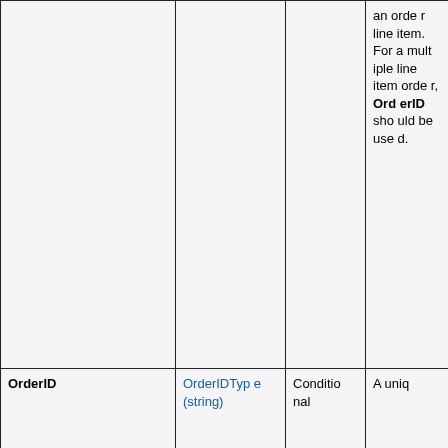|  |  |  | an order line item. For a multiple line item order, OrderID should be used. |
| OrderID | OrderIDType (string) | Conditional | A uniq |